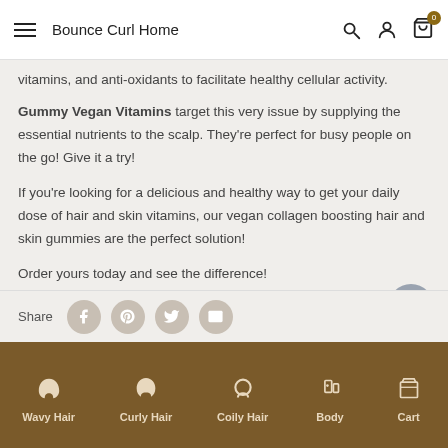Bounce Curl Home
vitamins, and anti-oxidants to facilitate healthy cellular activity.
Gummy Vegan Vitamins target this very issue by supplying the essential nutrients to the scalp. They’re perfect for busy people on the go! Give it a try!
If you're looking for a delicious and healthy way to get your daily dose of hair and skin vitamins, our vegan collagen boosting hair and skin gummies are the perfect solution!
Order yours today and see the difference!
Share